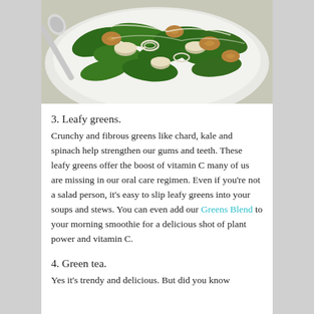[Figure (photo): A bowl of leafy green spinach salad with mushrooms, walnuts, onions, and a silver spoon, photographed from above.]
3. Leafy greens.
Crunchy and fibrous greens like chard, kale and spinach help strengthen our gums and teeth. These leafy greens offer the boost of vitamin C many of us are missing in our oral care regimen. Even if you're not a salad person, it's easy to slip leafy greens into your soups and stews. You can even add our Greens Blend to your morning smoothie for a delicious shot of plant power and vitamin C.
4. Green tea.
Yes it's trendy and delicious. But did you know